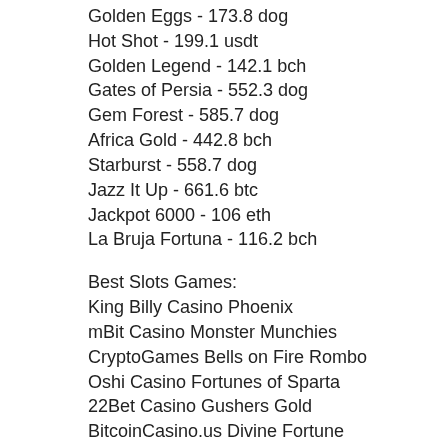Golden Eggs - 173.8 dog
Hot Shot - 199.1 usdt
Golden Legend - 142.1 bch
Gates of Persia - 552.3 dog
Gem Forest - 585.7 dog
Africa Gold - 442.8 bch
Starburst - 558.7 dog
Jazz It Up - 661.6 btc
Jackpot 6000 - 106 eth
La Bruja Fortuna - 116.2 bch
Best Slots Games:
King Billy Casino Phoenix
mBit Casino Monster Munchies
CryptoGames Bells on Fire Rombo
Oshi Casino Fortunes of Sparta
22Bet Casino Gushers Gold
BitcoinCasino.us Divine Fortune
Betchan Casino Spin Party
Syndicate Casino Sevens High
Bitcasino.io Speed Heroes